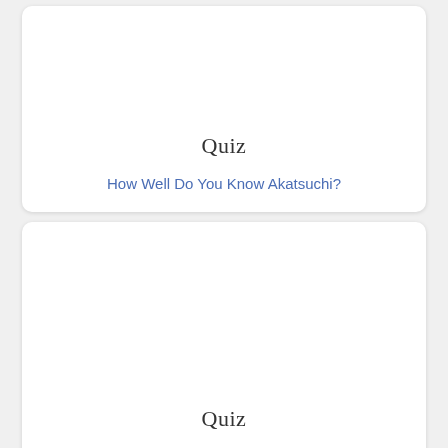[Figure (illustration): Card with Quiz label image at the top]
How Well Do You Know Akatsuchi?
[Figure (illustration): Card with Quiz label image in the middle]
What Do You Know About Akamaru?